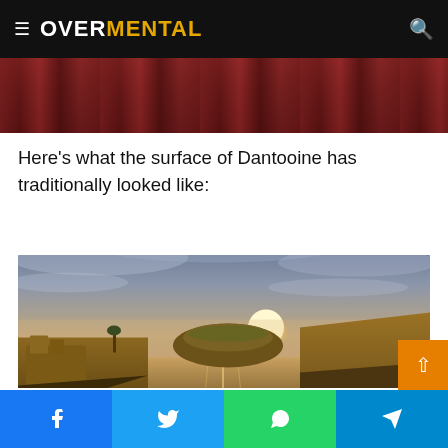OVERMENTAL
[Figure (photo): Cropped bottom portion of an image showing people in red clothing/robes, appears to be a crowd scene]
Here's what the surface of Dantooine has traditionally looked like:
[Figure (photo): Digital artwork/render of the surface of Dantooine (Star Wars planet) showing a sunset or sunrise over a water channel with rocky outcroppings and golden grasslands, dramatic cloudy sky with sun on horizon]
Facebook  Twitter  WhatsApp  Telegram